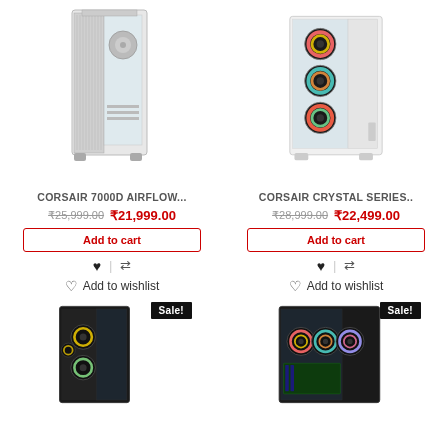[Figure (photo): CORSAIR 7000D Airflow full tower PC case in white/gray with mesh front panel]
[Figure (photo): CORSAIR Crystal Series full tower PC case in white with RGB fans visible through glass panel]
CORSAIR 7000D AIRFLOW...
₹25,999.00  ₹21,999.00
Add to cart
Add to wishlist
CORSAIR CRYSTAL SERIES..
₹28,999.00  ₹22,499.00
Add to cart
Add to wishlist
[Figure (photo): PC case in black with RGB fans, Sale badge shown]
[Figure (photo): PC case in black with multiple RGB fans, Sale badge shown]